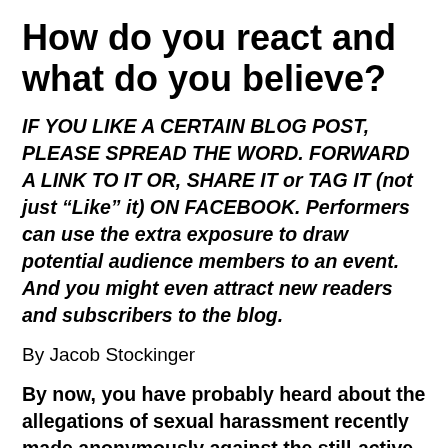How do you react and what do you believe?
IF YOU LIKE A CERTAIN BLOG POST, PLEASE SPREAD THE WORD. FORWARD A LINK TO IT OR, SHARE IT or TAG IT (not just “Like” it) ON FACEBOOK. Performers can use the extra exposure to draw potential audience members to an event. And you might even attract new readers and subscribers to the blog.
By Jacob Stockinger
By now, you have probably heard about the allegations of sexual harassment recently made anonymously against the still-active superstar Spanish tenor Placido Domingo (below), 78, who